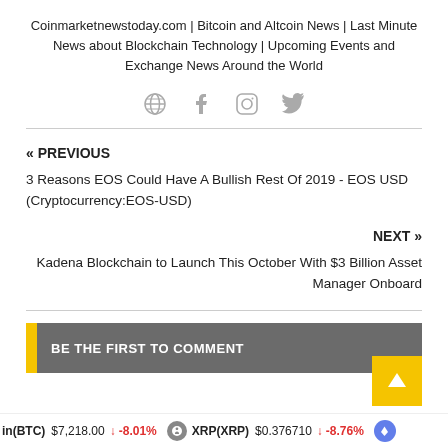Coinmarketnewstoday.com | Bitcoin and Altcoin News | Last Minute News about Blockchain Technology | Upcoming Events and Exchange News Around the World
[Figure (other): Social media icons: globe, Facebook, Instagram, Twitter]
« PREVIOUS
3 Reasons EOS Could Have A Bullish Rest Of 2019 - EOS USD (Cryptocurrency:EOS-USD)
NEXT »
Kadena Blockchain to Launch This October With $3 Billion Asset Manager Onboard
BE THE FIRST TO COMMENT
in(BTC) $7,218.00 ↓ -8.01%   XRP(XRP) $0.376710 ↓ -8.76%